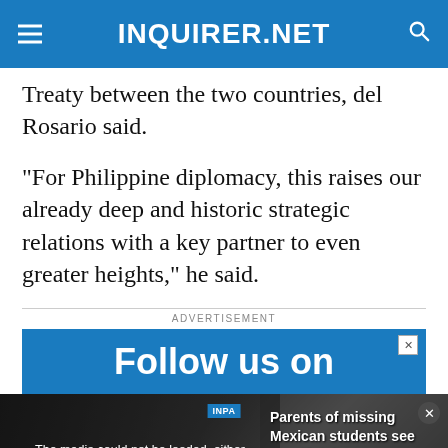INQUIRER.NET
Treaty between the two countries, del Rosario said.
“For Philippine diplomacy, this raises our already deep and historic strategic relations with a key partner to even greater heights,” he said.
ADVERTISEMENT
[Figure (screenshot): Blue advertisement banner showing 'Follow us on' text in bold white letters]
[Figure (screenshot): Video player overlay showing a protest scene with text: 'The media could not be loaded, either because the server or network failed or because the format is not supported.' Right side shows article preview: 'Parents of missing Mexican students see ex-official’s arrest as step towards justice']